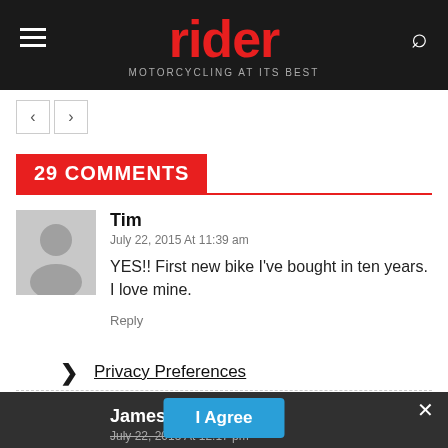rider — MOTORCYCLING AT ITS BEST
29 COMMENTS
Tim
July 22, 2015 At 11:39 am
YES!! First new bike I've bought in ten years. I love mine.
Reply
James Epley
July 22, 2015 At 12:17 pm
It's great ... is again part of the equation t... s up a great bike. While the Versys 1000 may not be the flashiest bike
Privacy Preferences
I Agree